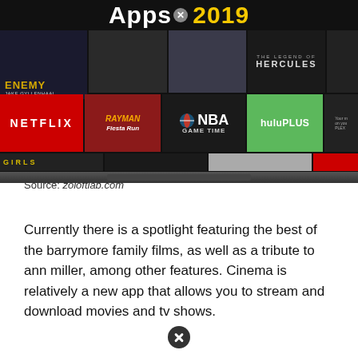[Figure (screenshot): Screenshot of a streaming TV interface showing movie thumbnails (Enemy with Jake Gyllenhaal, Hercules) and app icons (Netflix, Rayman, NBA Game Time, Hulu Plus) on a dark background, with 'Apps 2019' title text at top]
Source: zoloftlab.com
Currently there is a spotlight featuring the best of the barrymore family films, as well as a tribute to ann miller, among other features. Cinema is relatively a new app that allows you to stream and download movies and tv shows.